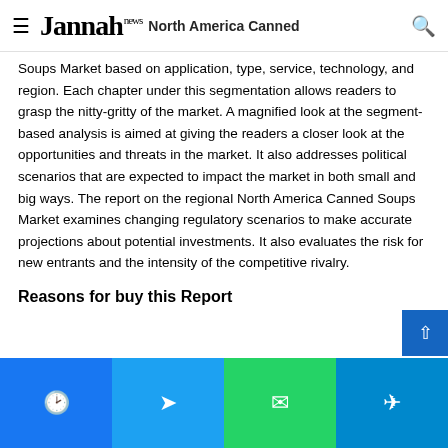Jannah news — North America Canned Soups Market
Soups Market based on application, type, service, technology, and region. Each chapter under this segmentation allows readers to grasp the nitty-gritty of the market. A magnified look at the segment-based analysis is aimed at giving the readers a closer look at the opportunities and threats in the market. It also addresses political scenarios that are expected to impact the market in both small and big ways. The report on the regional North America Canned Soups Market examines changing regulatory scenarios to make accurate projections about potential investments. It also evaluates the risk for new entrants and the intensity of the competitive rivalry.
Reasons for buy this Report